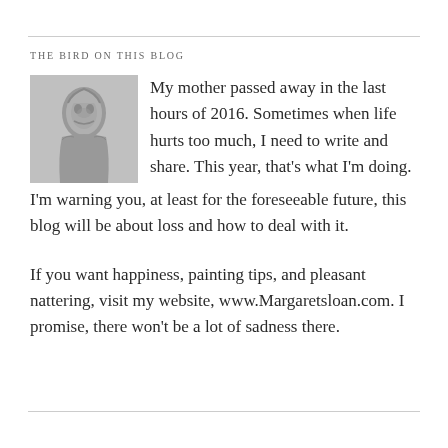THE BIRD ON THIS BLOG
[Figure (photo): Small grayscale portrait photo of a woman]
My mother passed away in the last hours of 2016. Sometimes when life hurts too much, I need to write and share. This year, that's what I'm doing. I'm warning you, at least for the foreseeable future, this blog will be about loss and how to deal with it.
If you want happiness, painting tips, and pleasant nattering, visit my website, www.Margaretsloan.com. I promise, there won't be a lot of sadness there.